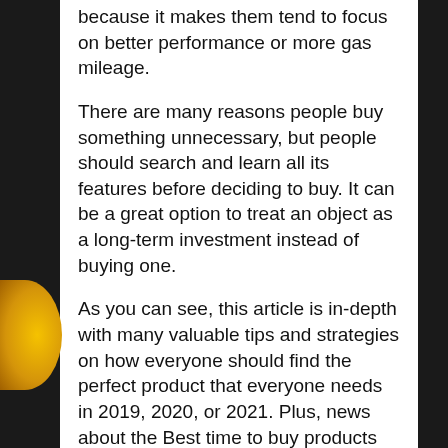because it makes them tend to focus on better performance or more gas mileage.
There are many reasons people buy something unnecessary, but people should search and learn all its features before deciding to buy. It can be a great option to treat an object as a long-term investment instead of buying one.
As you can see, this article is in-depth with many valuable tips and strategies on how everyone should find the perfect product that everyone needs in 2019, 2020, or 2021. Plus, news about the Best time to buy products everyone needed in 2019!
Some sites you should visit: ...
2. The best microwave must match your budget